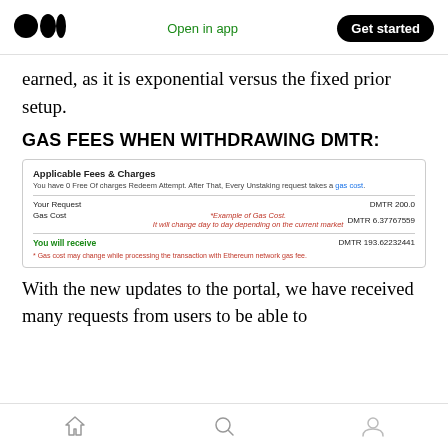Medium logo | Open in app | Get started
earned, as it is exponential versus the fixed prior setup.
GAS FEES WHEN WITHDRAWING DMTR:
[Figure (screenshot): Screenshot of Applicable Fees & Charges dialog. Shows: Your Request DMTR 200.0, Gas Cost DMTR 6.37767559 (with red example note: *Example of Gas Cost. It will change day to day depending on the current market), You will receive DMTR 193.62232441. Footer note: * Gas cost may change while processing the transaction with Ethereum network gas fee.]
With the new updates to the portal, we have received many requests from users to be able to